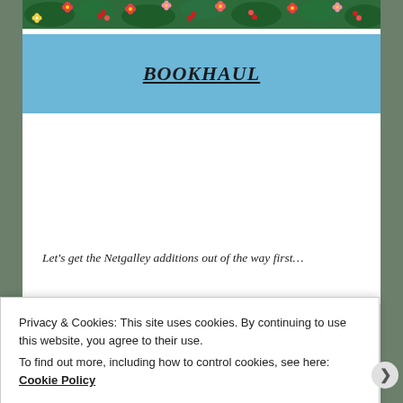[Figure (illustration): Floral decorative banner with tropical flowers and leaves in green, red, pink, and yellow colors.]
BOOKHAUL
Let's get the Netgalley additions out of the way first…
THE IT GIRL by RUTH WARE
Privacy & Cookies: This site uses cookies. By continuing to use this website, you agree to their use.
To find out more, including how to control cookies, see here: Cookie Policy
Close and accept